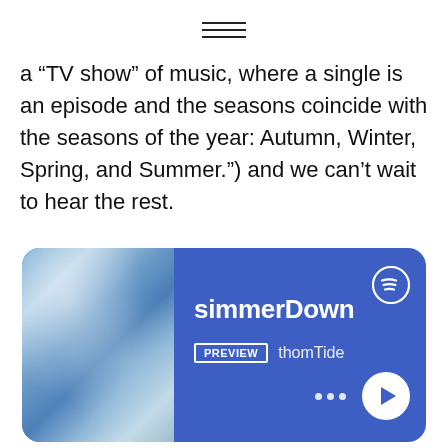[Figure (other): Hamburger menu icon — three horizontal lines centered at the top of the page]
a “TV show” of music, where a single is an episode and the seasons coincide with the seasons of the year: Autumn, Winter, Spring, and Summer.”) and we can’t wait to hear the rest.
[Figure (screenshot): Spotify player card with blue background showing album art (abstract blue/white texture), song title 'simmerDown', PREVIEW badge, artist name 'thomTide', three-dot menu, and play button with Spotify logo]